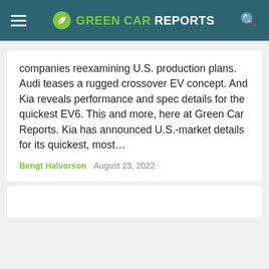GREEN CAR REPORTS
companies reexamining U.S. production plans. Audi teases a rugged crossover EV concept. And Kia reveals performance and spec details for the quickest EV6. This and more, here at Green Car Reports. Kia has announced U.S.-market details for its quickest, most…
Bengt Halvorson   August 23, 2022